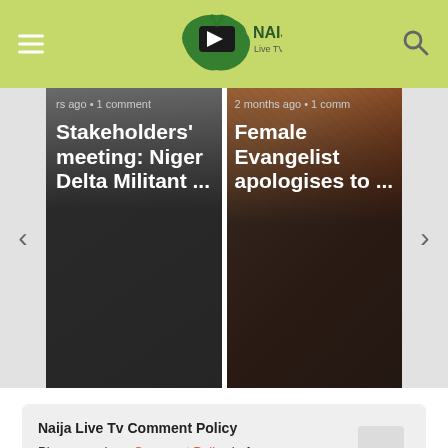Naija Live Tv
[Figure (screenshot): Carousel card 1: rs ago • 1 comment — Stakeholders' meeting: Niger Delta Militant ...]
[Figure (screenshot): Carousel card 2: 2 months ago • 1 comm — Female Evangelist apologises to ...]
Naija Live Tv Comment Policy
Please read our Comment Policy before commenting.
Comments  Community  🔒  1  Login ▾
♡ Favorite   Sort by Best ▾